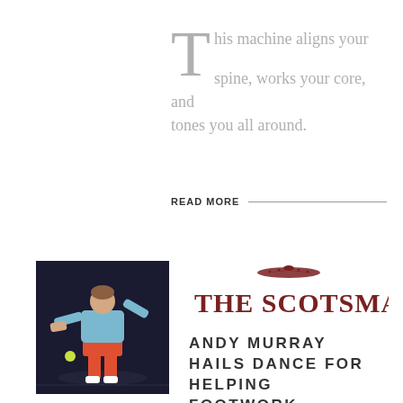This machine aligns your spine, works your core, and tones you all around.
READ MORE
[Figure (photo): Tennis player Andy Murray in action on court, hitting a shot, wearing light blue shirt, dark background.]
[Figure (logo): The Scotsman newspaper logo with ornamental crown/crest above the text.]
ANDY MURRAY HAILS DANCE FOR HELPING FOOTWORK